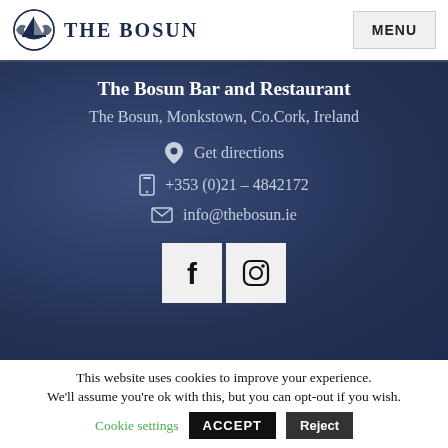THE BOSUN | MENU
The Bosun Bar and Restaurant
The Bosun, Monkstown, Co.Cork, Ireland
Get directions
+353 (0)21 – 4842172
info@thebosun.ie
[Figure (logo): Facebook and Instagram social media icons]
This website uses cookies to improve your experience. We'll assume you're ok with this, but you can opt-out if you wish. Cookie settings ACCEPT Reject